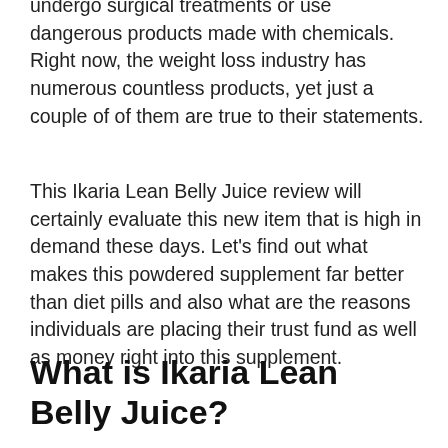undergo surgical treatments or use dangerous products made with chemicals. Right now, the weight loss industry has numerous countless products, yet just a couple of of them are true to their statements.
This Ikaria Lean Belly Juice review will certainly evaluate this new item that is high in demand these days. Let's find out what makes this powdered supplement far better than diet pills and also what are the reasons individuals are placing their trust fund as well as money right into this supplement.
What is Ikaria Lean Belly Juice?